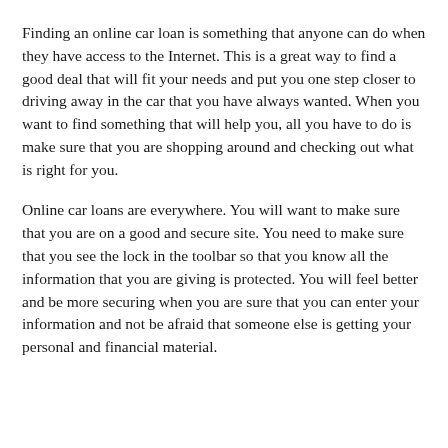Finding an online car loan is something that anyone can do when they have access to the Internet. This is a great way to find a good deal that will fit your needs and put you one step closer to driving away in the car that you have always wanted. When you want to find something that will help you, all you have to do is make sure that you are shopping around and checking out what is right for you.
Online car loans are everywhere. You will want to make sure that you are on a good and secure site. You need to make sure that you see the lock in the toolbar so that you know all the information that you are giving is protected. You will feel better and be more securing when you are sure that you can enter your information and not be afraid that someone else is getting your personal and financial material.